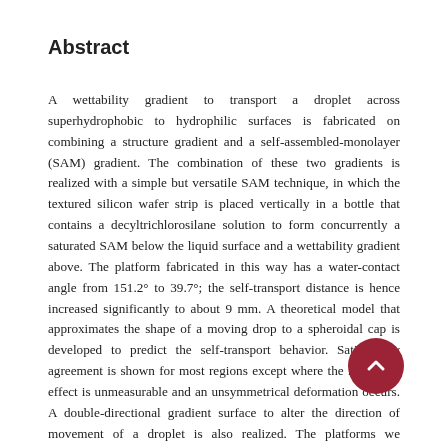Abstract
A wettability gradient to transport a droplet across superhydrophobic to hydrophilic surfaces is fabricated on combining a structure gradient and a self-assembled-monolayer (SAM) gradient. The combination of these two gradients is realized with a simple but versatile SAM technique, in which the textured silicon wafer strip is placed vertically in a bottle that contains a decyltrichlorosilane solution to form concurrently a saturated SAM below the liquid surface and a wettability gradient above. The platform fabricated in this way has a water-contact angle from 151.2° to 39.7°; the self-transport distance is hence increased significantly to about 9 mm. A theoretical model that approximates the shape of a moving drop to a spheroidal cap is developed to predict the self-transport behavior. Satisfactory agreement is shown for most regions except where the hysteresis effect is unmeasurable and an unsymmetrical deformation occurs. A double-directional gradient surface to alter the direction of movement of a droplet is also realized. The platforms we developed serve not only to transport a fluid over